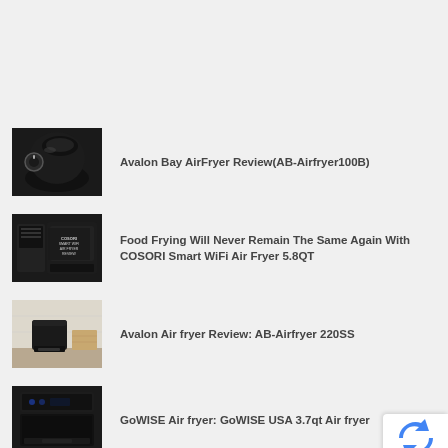Avalon Bay AirFryer Review(AB-Airfryer100B)
Food Frying Will Never Remain The Same Again With COSORI Smart WiFi Air Fryer 5.8QT
Avalon Air fryer Review: AB-Airfryer 220SS
GoWISE Air fryer: GoWISE USA 3.7qt Air fryer